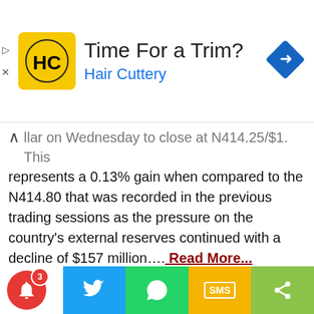[Figure (screenshot): Advertisement banner for Hair Cuttery with yellow logo showing HC initials, title 'Time For a Trim?' and subtitle 'Hair Cuttery' in blue, with a blue navigation diamond icon on the right.]
llar on Wednesday to close at N414.25/$1. This represents a 0.13% gain when compared to the N414.80 that was recorded in the previous trading sessions as the pressure on the country's external reserves continued with a decline of $157 million.... Read More...
[Figure (screenshot): Mobile app bottom navigation bar with sections: notification bell (red circle with badge '3'), Twitter blue, WhatsApp green, SMS yellow, share lime green.]